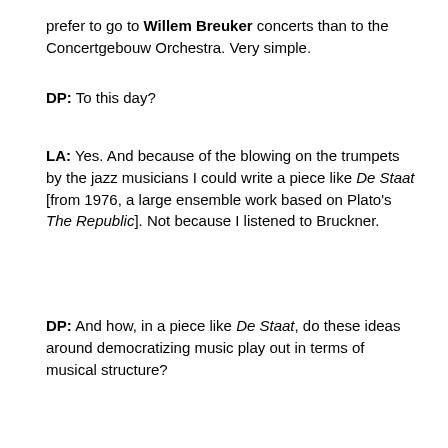prefer to go to Willem Breuker concerts than to the Concertgebouw Orchestra. Very simple.
DP: To this day?
LA: Yes. And because of the blowing on the trumpets by the jazz musicians I could write a piece like De Staat [from 1976, a large ensemble work based on Plato's The Republic]. Not because I listened to Bruckner.
DP: And how, in a piece like De Staat, do these ideas around democratizing music play out in terms of musical structure?